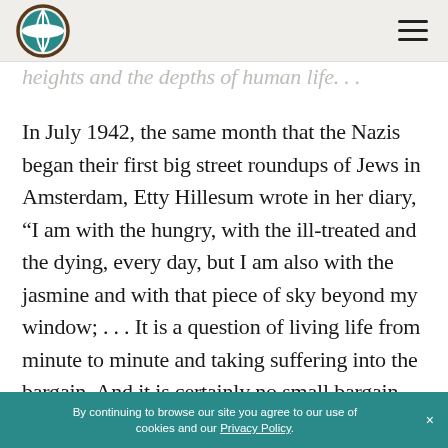[Logo] [Hamburger menu]
heights and the depths of human life. . .
In July 1942, the same month that the Nazis began their first big street roundups of Jews in Amsterdam, Etty Hillesum wrote in her diary, “I am with the hungry, with the ill-treated and the dying, every day, but I am also with the jasmine and with that piece of sky beyond my window; . . . It is a question of living life from minute to minute and taking suffering into the bargain. And it is certainly no small bargain these days.” [3] Etty was looking at
By continuing to browse our site you agree to our use of cookies and our Privacy Policy. ×